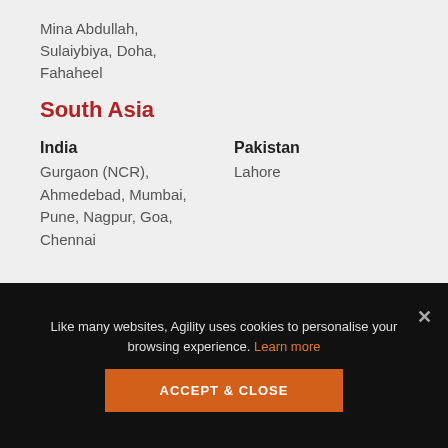Mina Abdullah, Sulaiybiya, Doha, Fahaheel
South Asia
India
Gurgaon (NCR), Ahmedebad, Mumbai, Pune, Nagpur, Goa, Chennai
Pakistan
Lahore
Like many websites, Agility uses cookies to personalise your browsing experience. Learn more
ACCEPT & CLOSE